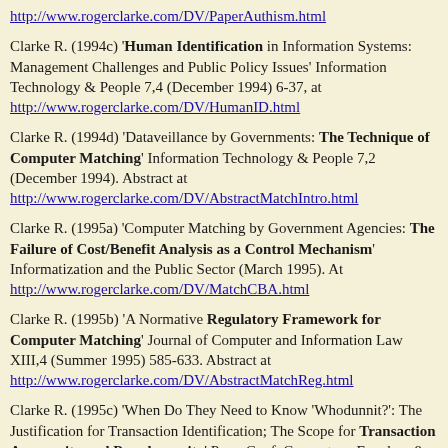http://www.rogerclarke.com/DV/PaperAuthism.html
Clarke R. (1994c) 'Human Identification in Information Systems: Management Challenges and Public Policy Issues' Information Technology & People 7,4 (December 1994) 6-37, at http://www.rogerclarke.com/DV/HumanID.html
Clarke R. (1994d) 'Dataveillance by Governments: The Technique of Computer Matching' Information Technology & People 7,2 (December 1994). Abstract at http://www.rogerclarke.com/DV/AbstractMatchIntro.html
Clarke R. (1995a) 'Computer Matching by Government Agencies: The Failure of Cost/Benefit Analysis as a Control Mechanism' Informatization and the Public Sector (March 1995). At http://www.rogerclarke.com/DV/MatchCBA.html
Clarke R. (1995b) 'A Normative Regulatory Framework for Computer Matching' Journal of Computer and Information Law XIII,4 (Summer 1995) 585-633. Abstract at http://www.rogerclarke.com/DV/AbstractMatchReg.html
Clarke R. (1995c) 'When Do They Need to Know 'Whodunnit?': The Justification for Transaction Identification; The Scope for Transaction Anonymity and Pseudonymity' Proc. Conf. Computers, Freedom & Privacy, San Francisco, 31 March 1995. At http://www.rogerclarke.com/DV/PaperCFP95.html. Revised version published as 'Transaction Anonymity and Pseudonymity'